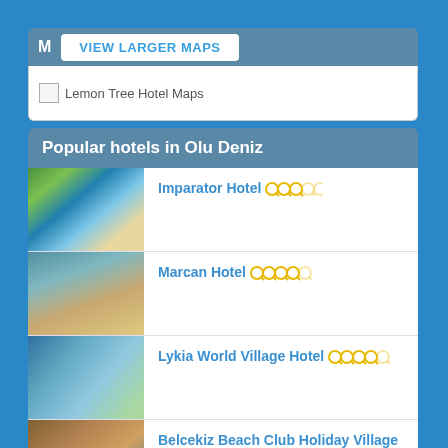M VIEW LARGER MAPS
[Figure (screenshot): Lemon Tree Hotel Maps image placeholder]
Popular hotels in Olu Deniz
Imparator Hotel (3.5/5 stars)
Marcan Hotel (4/5 stars)
Lykia World Village Hotel (4/5 stars)
Belcekiz Beach Club Holiday Village (5/5 stars)